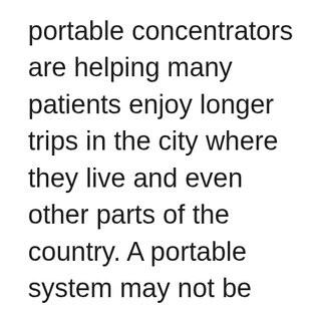portable concentrators are helping many patients enjoy longer trips in the city where they live and even other parts of the country. A portable system may not be what you require, this will depend on your individual oxygen needs, but as the technology continues to improve, POCs are becoming more popular. With all the options available, it's important to have the